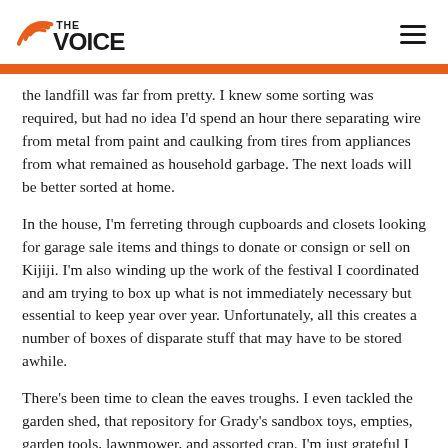THE VOICE
the landfill was far from pretty. I knew some sorting was required, but had no idea I'd spend an hour there separating wire from metal from paint and caulking from tires from appliances from what remained as household garbage. The next loads will be better sorted at home.
In the house, I'm ferreting through cupboards and closets looking for garage sale items and things to donate or consign or sell on Kijiji. I'm also winding up the work of the festival I coordinated and am trying to box up what is not immediately necessary but essential to keep year over year. Unfortunately, all this creates a number of boxes of disparate stuff that may have to be stored awhile.
There's been time to clean the eaves troughs. I even tackled the garden shed, that repository for Grady's sandbox toys, empties, garden tools, lawnmower, and assorted crap. I'm just grateful I didn't see a mouse through it all.